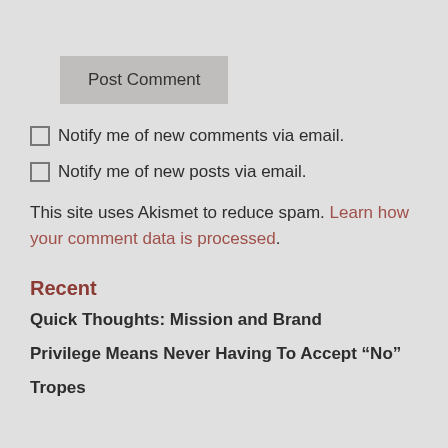[Figure (other): Post Comment button — a grey rectangular button with label 'Post Comment']
☐ Notify me of new comments via email.
☐ Notify me of new posts via email.
This site uses Akismet to reduce spam. Learn how your comment data is processed.
Recent
Quick Thoughts: Mission and Brand
Privilege Means Never Having To Accept “No”
Tropes